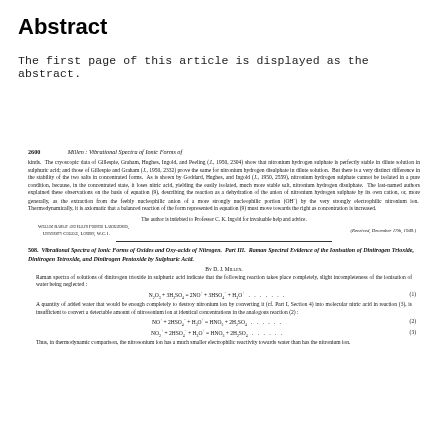Abstract
The first page of this article is displayed as the abstract.
2600    Millen : Vibrational Spectra of Ionic Forms of
kinds. The cryoscopic data of Gillespie, Graham, Hughes, Ingold, and Peeling (J., 1950, 2304) show that nitronium hydrogen sulphate is perfectly stable in dilute solution in sulphuric acid; and those of Gillespie and Graham (J., 1950, 2332) prove the same for nitronium hydrogen disulphate in dilute solution. But there is a very distinct difference in the stability of the two salts in concentrated forms. As is shown by Goddard, Hughes, and Ingold (J., 1950, 2559), nitronium hydrogen sulphate cannot be isolated in a pure condition, because, in the concentrated state, it loses nitric acid, yielding the easily isolated, much more stable salt, nitronium hydrogen disulphate. The last-named authors explained these observations on the basis of equation (9), describing the reaction as a dehydration of the anion of nitronium hydrogen sulphate by its own cation, or, more generally, as the extraction from the feebly nucleophilic anion of a more strongly nucleophilic portion (OH⁻) by the very strongly electrophilic nitronium ion. Thermodynamically, it is axiomatic that a balanced reaction of the form represented in equation (9) must move towards the right as concentration is increased.
The author is indebted to Professor C. K. Ingold for invaluable help and advice.
William Ramsay and Ralph Forster Laboratories, University College, London, W.C.1.
(Received, December 17th, 1949.)
508. Vibrational Spectra of Ionic Forms of Oxides and Oxy-acids of Nitrogen. Part III. Raman Spectral Evidence of the Ionisation of Dinitrogen Trioxide, Dinitrogen Tetroxide, and Dinitrogen Pentoxide by Sulphuric Acid.
By D. J. Millen.
Raman spectra of solutions of dinitrogen trioxide in sulphuric acid indicate that the following reaction takes place completely, slight incompleteness of the ionisation of water being neglected :
A quantity of added water that would be enough completely to destroy nitronium ion by converting it (cf. Part I, Section 4) into molecular nitric acid in reaction (3), is insufficient to convert a detectable amount of nitrosonium ion at identical concentrations in the analogous reaction (2) :
Thus, in thermodynamic comparison, the nitrosonium ion has a much smaller electrophilic reactivity towards water than has the nitronium ion.